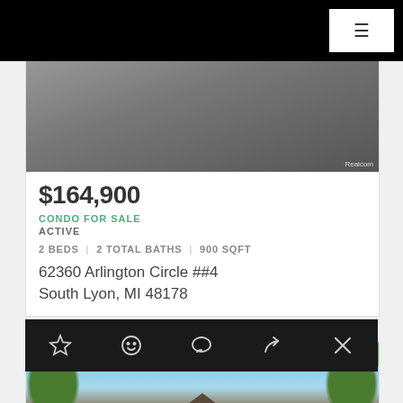Navigation bar with menu button
[Figure (photo): Exterior photo of condo with brick/paver pathway, partially cropped, with Realcom watermark]
$164,900
CONDO FOR SALE
ACTIVE
2 BEDS | 2 TOTAL BATHS | 900 SQFT
62360 Arlington Circle ##4
South Lyon, MI 48178
[Figure (infographic): Action bar with icons: star (favorite), smiley face, chat bubble, share arrow, close X]
NEW LISTING - 4 DAYS ONLINE
[Figure (photo): Exterior photo of house with blue sky, trees, and roof visible - second listing]